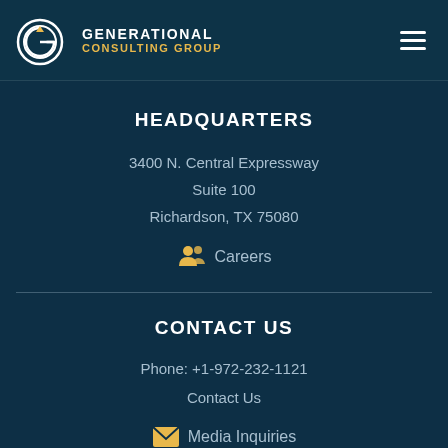[Figure (logo): Generational Consulting Group logo with circular G emblem and text]
HEADQUARTERS
3400 N. Central Expressway
Suite 100
Richardson, TX 75080
Careers
CONTACT US
Phone: +1-972-232-1121
Contact Us
Media Inquiries